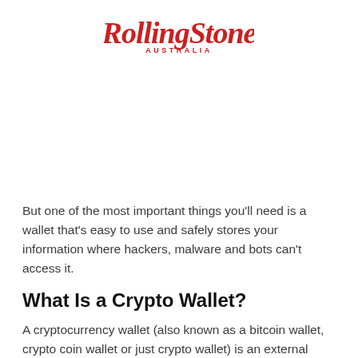Rolling Stone Australia
But one of the most important things you'll need is a wallet that's easy to use and safely stores your information where hackers, malware and bots can't access it.
What Is a Crypto Wallet?
A cryptocurrency wallet (also known as a bitcoin wallet, crypto coin wallet or just crypto wallet) is an external